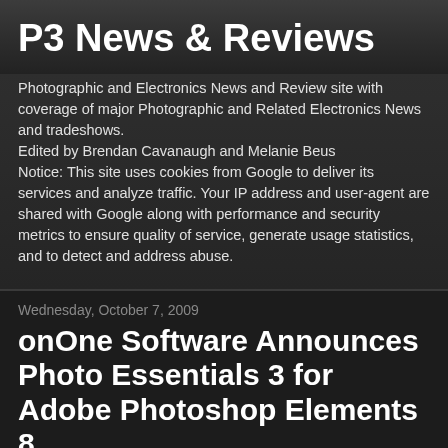P3 News & Reviews
Photographic and Electronics News and Review site with coverage of major Photographic and Related Electronics News and tradeshows.
Edited by Brendan Cavanaugh and Melanie Beus
Notice: This site uses cookies from Google to deliver its services and analyze traffic. Your IP address and user-agent are shared with Google along with performance and security metrics to ensure quality of service, generate usage statistics, and to detect and address abuse.
Wednesday, October 7, 2009
onOne Software Announces Photo Essentials 3 for Adobe Photoshop Elements 8
[Figure (screenshot): Screenshot of Photo Essentials 3 product image showing Five Essential Add-ons for Adobe Photoshop Elements text and product box art]